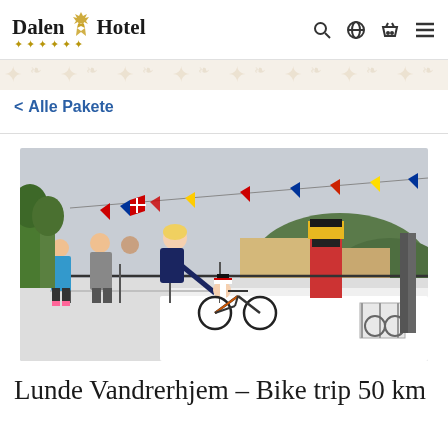Dalen Hotel
< Alle Pakete
[Figure (photo): People loading bicycles onto a boat decorated with colorful flags at a harbor or canal lock. A man in dark clothing leans over a railing passing a bicycle down to a person in white on the boat deck. Several other people walk along the dock. A red and yellow steamship funnel is visible in the background, along with green hills and buildings.]
Lunde Vandrerhjem – Bike trip 50 km